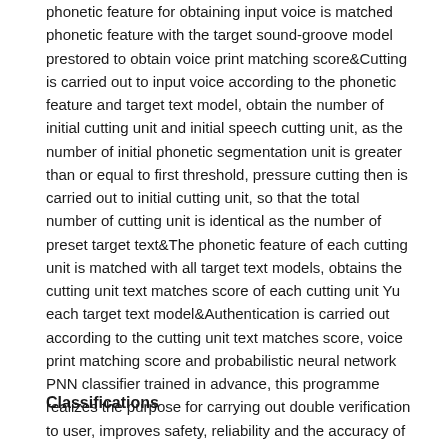phonetic feature for obtaining input voice is matched phonetic feature with the target sound-groove model prestored to obtain voice print matching score&Cutting is carried out to input voice according to the phonetic feature and target text model, obtain the number of initial cutting unit and initial speech cutting unit, as the number of initial phonetic segmentation unit is greater than or equal to first threshold, pressure cutting then is carried out to initial cutting unit, so that the total number of cutting unit is identical as the number of preset target text&The phonetic feature of each cutting unit is matched with all target text models, obtains the cutting unit text matches score of each cutting unit Yu each target text model&Authentication is carried out according to the cutting unit text matches score, voice print matching score and probabilistic neural network PNN classifier trained in advance, this programme realizes the purpose for carrying out double verification to user, improves safety, reliability and the accuracy of system.
Classifications